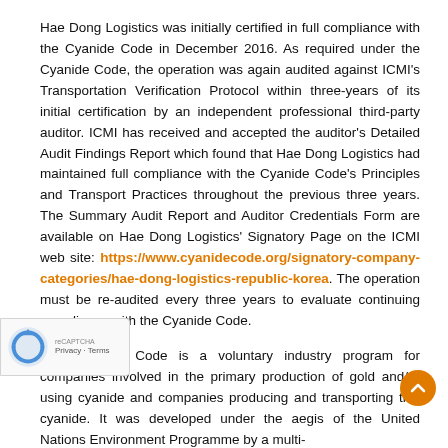Hae Dong Logistics was initially certified in full compliance with the Cyanide Code in December 2016. As required under the Cyanide Code, the operation was again audited against ICMI's Transportation Verification Protocol within three-years of its initial certification by an independent professional third-party auditor. ICMI has received and accepted the auditor's Detailed Audit Findings Report which found that Hae Dong Logistics had maintained full compliance with the Cyanide Code's Principles and Transport Practices throughout the previous three years. The Summary Audit Report and Auditor Credentials Form are available on Hae Dong Logistics' Signatory Page on the ICMI web site: https://www.cyanidecode.org/signatory-company-categories/hae-dong-logistics-republic-korea. The operation must be re-audited every three years to evaluate continuing compliance with the Cyanide Code.
The Cyanide Code is a voluntary industry program for companies involved in the primary production of gold and/or using cyanide and companies producing and transporting this cyanide. It was developed under the aegis of the United Nations Environment Programme by a multi-